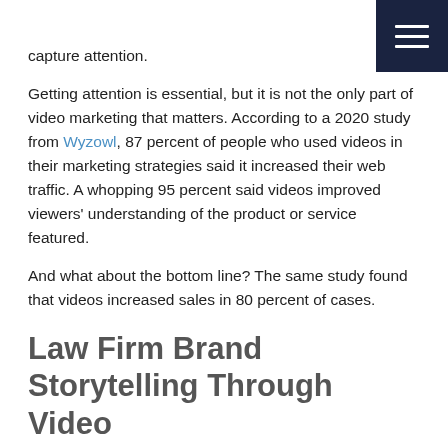capture attention.
Getting attention is essential, but it is not the only part of video marketing that matters. According to a 2020 study from Wyzowl, 87 percent of people who used videos in their marketing strategies said it increased their web traffic. A whopping 95 percent said videos improved viewers' understanding of the product or service featured.
And what about the bottom line? The same study found that videos increased sales in 80 percent of cases.
Law Firm Brand Storytelling Through Video